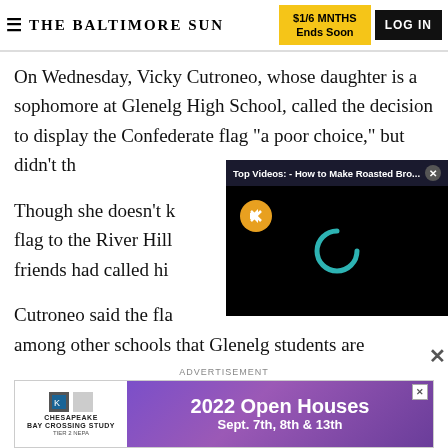THE BALTIMORE SUN | $1/6 MNTHS Ends Soon | LOG IN
On Wednesday, Vicky Cutroneo, whose daughter is a sophomore at Glenelg High School, called the decision to display the Confederate flag "a poor choice," but didn't th...
[Figure (screenshot): Video overlay popup titled 'Top Videos: - How to Make Roasted Bro...' with black video area, muted speaker icon (orange circle with speaker), and teal loading spinner]
Though she doesn't k... flag to the River Hill... friends had called hi...
Cutroneo said the fla... among other schools that Glenelg students are
ADVERTISEMENT
[Figure (infographic): Chesapeake Bay Crossing Study Tier 2 NEPA advertisement banner with '2022 Open Houses Sept. 7th, 8th & 13th' on purple background]